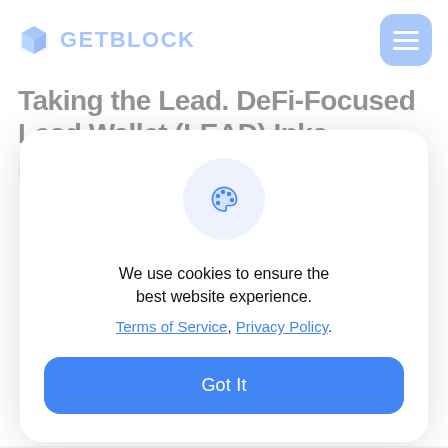GETBLOCK
Taking the Lead. DeFi-Focused Lead Wallet (LEAD) Inks
[Figure (infographic): Cookie consent modal with cookie palette icon, text about cookie usage, links to Terms of Service and Privacy Policy, and a Got It button]
We use cookies to ensure the best website experience. Terms of Service, Privacy Policy.
Got It